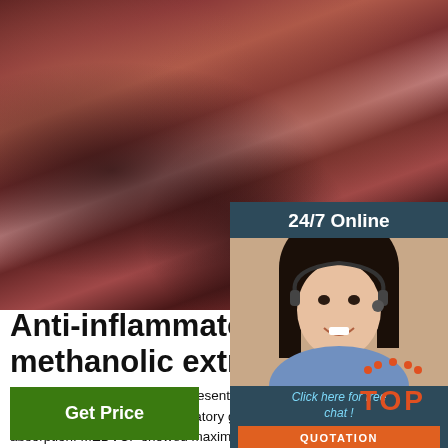[Figure (photo): Close-up photo of reddish-brown rocky or organic textured surface, possibly plant material or mineral, with dark shadows]
[Figure (photo): 24/7 Online chat widget showing a smiling woman with headset, with 'Click here for free chat!' text and orange QUOTATION button]
Anti-inflammatory effect of a methanolic extract of leaves
2010-11-11  The present study established the anti-inflammatory activity of MEDV in a carrageenan model of acute inflammation. The anti-inflammatory gradually increased with time and maximal action at the 5th hour possibly due to delayed oral absorption. MEDVCF showed maximum activity (66%) and retained its efficacy up to 24 h.